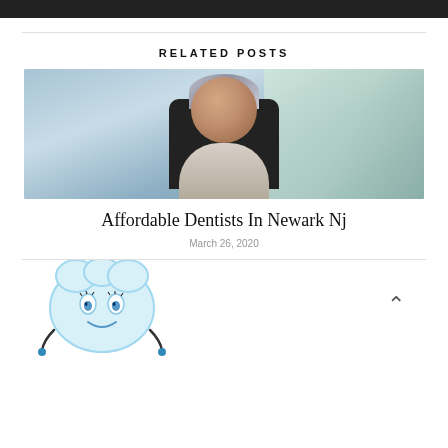RELATED POSTS
[Figure (photo): Portrait photo of a middle-aged man with gray hair seated in a black office chair, smiling, with a window and greenery in the background.]
Affordable Dentists In Newark Nj
March 26, 2020
[Figure (illustration): Cartoon illustration of a smiling tooth character with blue eyes, holding stethoscope earpieces, depicted in light blue colors.]